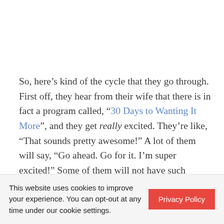So, here's kind of the cycle that they go through. First off, they hear from their wife that there is in fact a program called, “30 Days to Wanting It More”, and they get really excited. They’re like, “That sounds pretty awesome!” A lot of them will say, “Go ahead. Go for it. I’m super excited!” Some of them will not have such
This website uses cookies to improve your experience. You can opt-out at any time under our cookie settings.
Privacy Policy